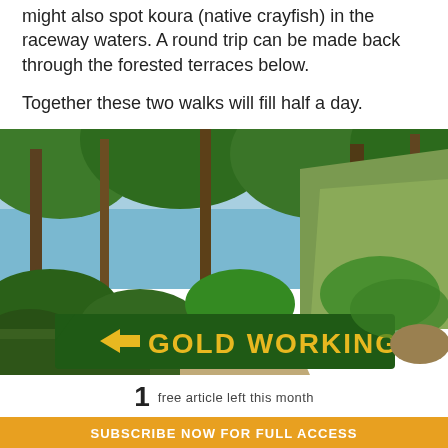might also spot koura (native crayfish) in the raceway waters. A round trip can be made back through the forested terraces below.
Together these two walks will fill half a day.
[Figure (photo): Forest trail with a green directional sign reading '< GOLD WORKINGS' in yellow lettering, surrounded by lush native bush]
1 free article left this month
SUBSCRIBE NOW FOR FULL ACCESS
Already a subscriber? Login Now